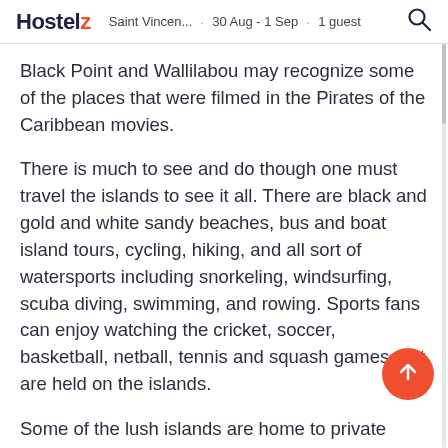Hostelz · Saint Vincen... · 30 Aug - 1 Sep · 1 guest
Black Point and Wallilabou may recognize some of the places that were filmed in the Pirates of the Caribbean movies.
There is much to see and do though one must travel the islands to see it all. There are black and gold and white sandy beaches, bus and boat island tours, cycling, hiking, and all sort of watersports including snorkeling, windsurfing, scuba diving, swimming, and rowing. Sports fans can enjoy watching the cricket, soccer, basketball, netball, tennis and squash games that are held on the islands.
Some of the lush islands are home to private resorts while others are scarcely populated and remote. Kingston, the capital and largest city in the region, is located on St. Vincent. Known as